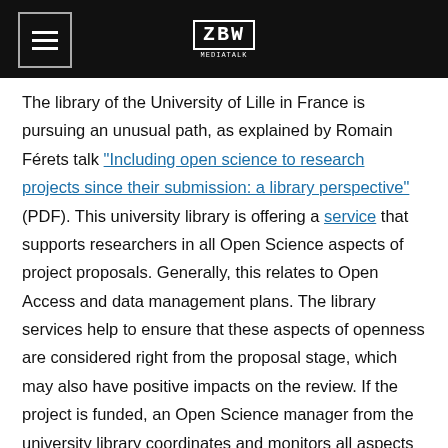ZBW MEDIATALK
The library of the University of Lille in France is pursuing an unusual path, as explained by Romain Férets talk “Including open science to research projects since their submission: a library perspective” (PDF). This university library is offering a service that supports researchers in all Open Science aspects of project proposals. Generally, this relates to Open Access and data management plans. The library services help to ensure that these aspects of openness are considered right from the proposal stage, which may also have positive impacts on the review. If the project is funded, an Open Science manager from the university library coordinates and monitors all aspects that